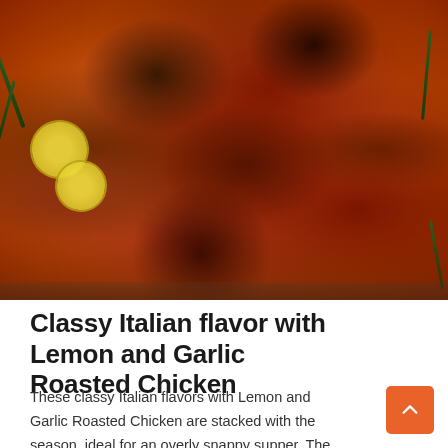[Figure (photo): Close-up photo of roasted chicken pieces with lemon slices and rosemary sprigs in a pan, showing dark spiced crust with golden-brown color]
Classy Italian flavor with Lemon and Garlic Roasted Chicken
These classy Italian flavors with Lemon and Garlic Roasted Chicken are stacked with the season, ideal for an overly snappy supper. The best part? the bone is